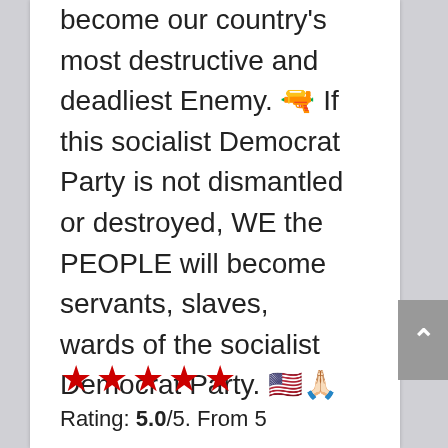become our country's most destructive and deadliest Enemy. 🔫 If this socialist Democrat Party is not dismantled or destroyed, WE the PEOPLE will become servants, slaves, wards of the socialist Democrat Party. 🇺🇸🙏🏻
[Figure (other): Five red star rating icons]
Rating: 5.0/5. From 5